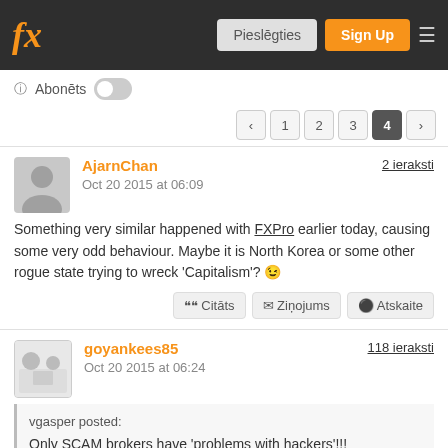fx  Pieslēgties  Sign Up
ⓘ Abonēts
‹ 1 2 3 4 ›
AjarnChan
Oct 20 2015 at 06:09
2 ieraksti
Something very similar happened with FXPro earlier today, causing some very odd behaviour. Maybe it is North Korea or some other rogue state trying to wreck 'Capitalism'? 🙂
❝ Citāts   ✉ Ziņojums   🚫 Atskaite
goyankees85
Oct 20 2015 at 06:24
118 ieraksti
vgasper posted:
Only SCAM brokers have 'problems with hackers'!!!